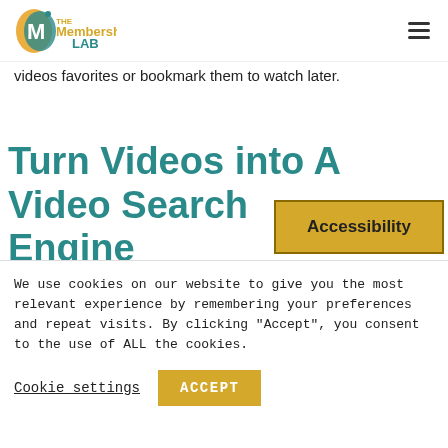The Membership Lab
videos favorites or bookmark them to watch later.
Turn Videos into A Video Search Engine
Accessibility
We use cookies on our website to give you the most relevant experience by remembering your preferences and repeat visits. By clicking “Accept”, you consent to the use of ALL the cookies.
Cookie settings
ACCEPT